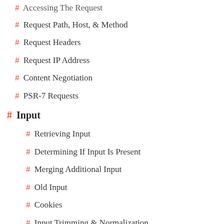# Accessing The Request
# Request Path, Host, & Method
# Request Headers
# Request IP Address
# Content Negotiation
# PSR-7 Requests
# Input
# Retrieving Input
# Determining If Input Is Present
# Merging Additional Input
# Old Input
# Cookies
# Input Trimming & Normalization
# Files
# Retrieving Uploaded Files